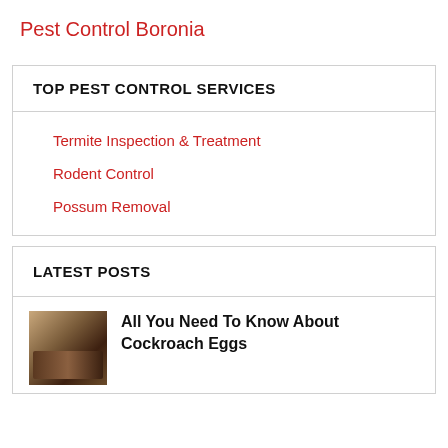Pest Control Boronia
TOP PEST CONTROL SERVICES
Termite Inspection & Treatment
Rodent Control
Possum Removal
LATEST POSTS
All You Need To Know About Cockroach Eggs